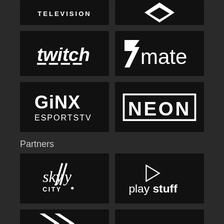[Figure (logo): TELEVISION logo - partial, top of page]
[Figure (logo): Diamond/arrow logo - partial, top of page]
[Figure (logo): Twitch logo on black background]
[Figure (logo): 7mate logo on black background]
[Figure (logo): GINX ESPORTSTV logo on black background]
[Figure (logo): NEON logo on black background]
Partners
[Figure (logo): SkyCity logo on black background]
[Figure (logo): play stuff logo on black background]
[Figure (logo): Partial logo at bottom left]
[Figure (logo): Partial logo at bottom right]